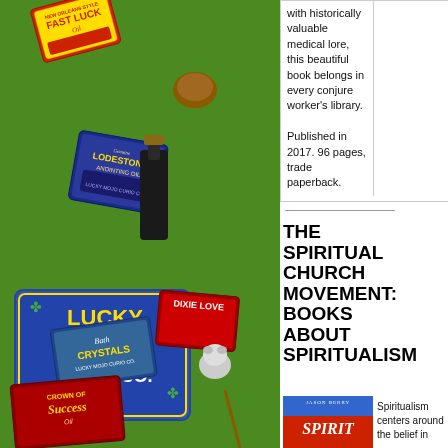[Figure (illustration): Left sidebar showing green background with Lucky Mojo Curio Co. product labels and items: Fast Luck Oil, Lodestone Anointing Oil, Lucky Mojo Curio Co. logo, Dixie Love, Bath Crystals, Crown of Success, with lucky charms and animal figures]
with historically valuable medical lore, this beautiful book belongs in every conjure worker's library.

Published in 2017. 96 pages, trade paperback.
THE SPIRITUAL CHURCH MOVEMENT: BOOKS ABOUT SPIRITUALISM
[Figure (illustration): Book cover for Jason Berry Spirit]
Spiritualism centers around the belief in